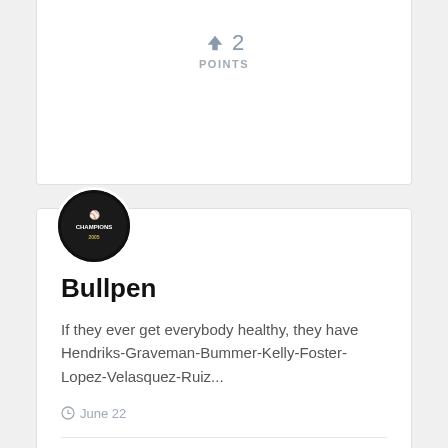[Figure (other): Upward arrow icon with number 2 and label POINTS — top card vote count]
POINTS
[Figure (photo): Round avatar with Chicago White Sox World Series Champions logo on black background]
Bullpen
If they ever get everybody healthy, they have Hendriks-Graveman-Bummer-Kelly-Foster-Lopez-Velasquez-Ruiz...
June 22
[Figure (other): Upward arrow icon with number 2 and label POINTS — second card vote count]
POINTS
[Figure (photo): Round avatar with baseball-related image, appears red/white/green]
AND THAT'S A WHITE SOX BIG